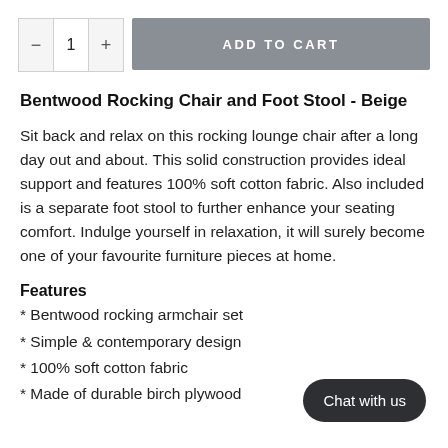ADD TO CART
Bentwood Rocking Chair and Foot Stool - Beige
Sit back and relax on this rocking lounge chair after a long day out and about. This solid construction provides ideal support and features 100% soft cotton fabric. Also included is a separate foot stool to further enhance your seating comfort. Indulge yourself in relaxation, it will surely become one of your favourite furniture pieces at home.
Features
* Bentwood rocking armchair set
* Simple & contemporary design
* 100% soft cotton fabric
* Made of durable birch plywood